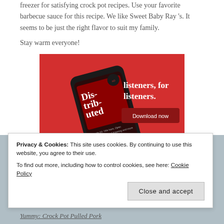freezer for satisfying crock pot recipes. Use your favorite barbecue sauce for this recipe. We like Sweet Baby Ray 's. It seems to be just the right flavor to suit my family.
Stay warm everyone!
[Figure (illustration): Red advertisement banner showing a smartphone with podcast app open displaying 'Dis-tri-bu-ted' text. Right side shows white text 'listeners, for listeners.' with a dark red 'Download now' button.]
Privacy & Cookies: This site uses cookies. By continuing to use this website, you agree to their use.
To find out more, including how to control cookies, see here: Cookie Policy
Close and accept
Yummy: Crock Pot Pulled Pork